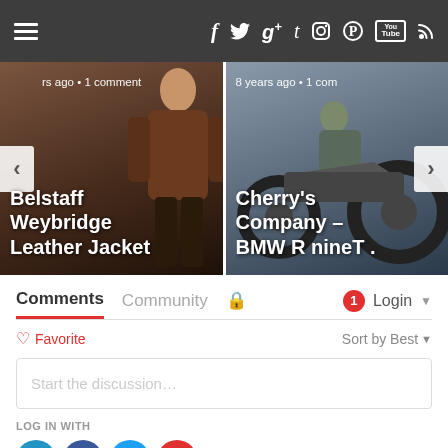Navigation bar with hamburger menu and social icons: f, Twitter, g+, t, Instagram, Pinterest, YouTube, RSS
[Figure (photo): Carousel with two items: left shows a man in a brown leather jacket with title 'Belstaff Weybridge Leather Jacket' and '...rs ago • 1 comment'; right shows a person on a motorcycle with title 'Cherry's Company – BMW R nineT .' and '8 years ago • 1 com']
Comments
Community
♥ Favorite
Sort by Best
Start the discussion…
LOG IN WITH
Social login buttons: Disqus (D), Facebook (f), Twitter bird, Google (G)